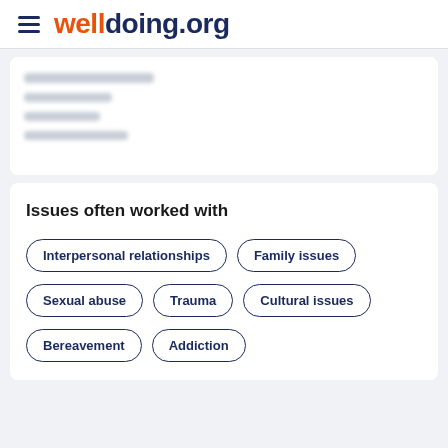welldoing.org
[Figure (other): Blurred/redacted profile information card with obscured text lines]
Issues often worked with
Interpersonal relationships
Family issues
Sexual abuse
Trauma
Cultural issues
Bereavement
Addiction